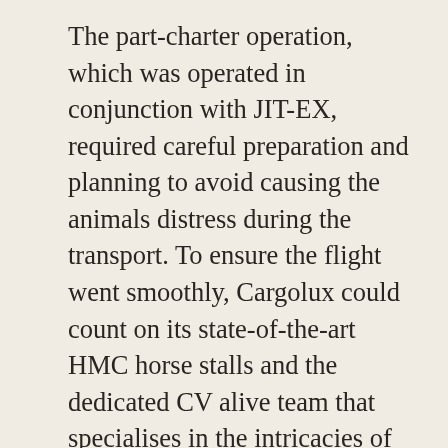The part-charter operation, which was operated in conjunction with JIT-EX, required careful preparation and planning to avoid causing the animals distress during the transport. To ensure the flight went smoothly, Cargolux could count on its state-of-the-art HMC horse stalls and the dedicated CV alive team that specialises in the intricacies of live animal transportation. The custom-designed HMC stalls provide increased stability and their double layer pallet base reduces the motion feeling for the horses, greatly reducing the stress the animals feel compared to traditional single layer pallets. With its expert staff, high professional standards and customised horse stalls, all the requirements were met to guarantee an optimal flight…